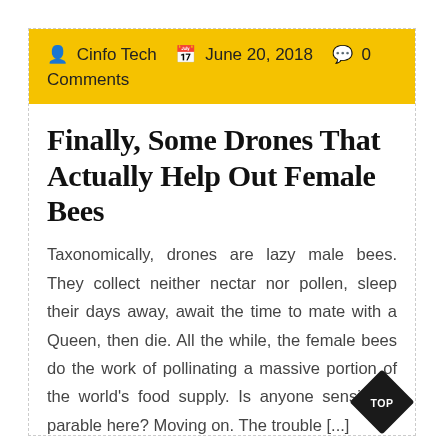Cinfo Tech   June 20, 2018   0 Comments
Finally, Some Drones That Actually Help Out Female Bees
Taxonomically, drones are lazy male bees. They collect neither nectar nor pollen, sleep their days away, await the time to mate with a Queen, then die. All the while, the female bees do the work of pollinating a massive portion of the world's food supply. Is anyone sensing a parable here? Moving on. The trouble [...]
READ MORE